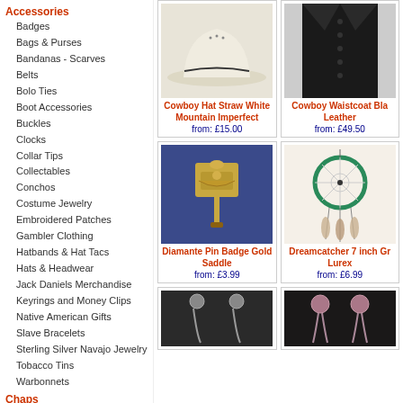Accessories
Badges
Bags & Purses
Bandanas - Scarves
Belts
Bolo Ties
Boot Accessories
Buckles
Clocks
Collar Tips
Collectables
Conchos
Costume Jewelry
Embroidered Patches
Gambler Clothing
Hatbands & Hat Tacs
Hats & Headwear
Jack Daniels Merchandise
Keyrings and Money Clips
Native American Gifts
Slave Bracelets
Sterling Silver Navajo Jewelry
Tobacco Tins
Warbonnets
Chaps
Childrens
Childrens Boots
[Figure (photo): Cowboy Hat Straw White Mountain Imperfect product photo]
Cowboy Hat Straw White Mountain Imperfect
from: £15.00
[Figure (photo): Cowboy Waistcoat Black Leather product photo]
Cowboy Waistcoat Black Leather
from: £49.50
[Figure (photo): Diamante Pin Badge Gold Saddle product photo]
Diamante Pin Badge Gold Saddle
from: £3.99
[Figure (photo): Dreamcatcher 7 inch Gr Lurex product photo]
Dreamcatcher 7 inch Gr Lurex
from: £6.99
[Figure (photo): Earrings product photo (partial)]
[Figure (photo): Earrings/jewelry product photo (partial)]